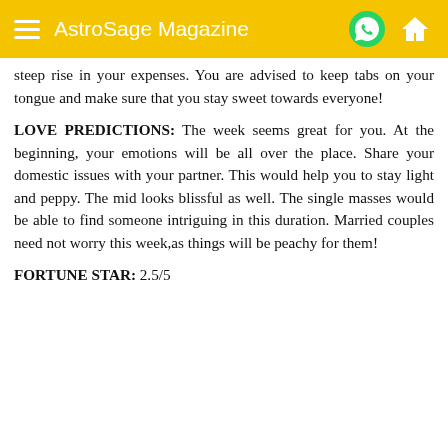AstroSage Magazine
steep rise in your expenses. You are advised to keep tabs on your tongue and make sure that you stay sweet towards everyone!
LOVE PREDICTIONS: The week seems great for you. At the beginning, your emotions will be all over the place. Share your domestic issues with your partner. This would help you to stay light and peppy. The mid looks blissful as well. The single masses would be able to find someone intriguing in this duration. Married couples need not worry this week,as things will be peachy for them!
FORTUNE STAR: 2.5/5